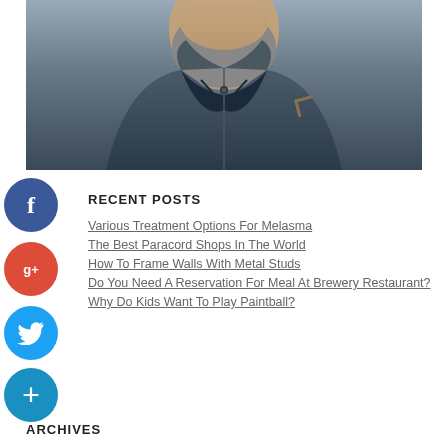[Figure (photo): Close-up photo of a middle-aged man with grey beard wearing a dark grey zip-up jacket over a navy v-neck shirt, with glasses in his breast pocket]
RECENT POSTS
Various Treatment Options For Melasma
The Best Paracord Shops In The World
How To Frame Walls With Metal Studs
Do You Need A Reservation For Meal At Brewery Restaurant?
Why Do Kids Want To Play Paintball?
ARCHIVES